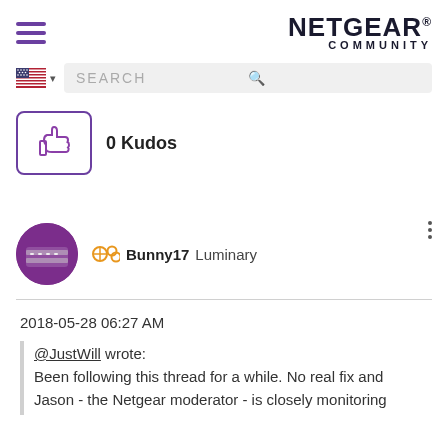[Figure (logo): NETGEAR Community logo with hamburger menu icon on left]
[Figure (screenshot): Search bar with US flag and magnifying glass icon]
[Figure (infographic): Kudos button with thumbs up icon showing 0 Kudos]
[Figure (photo): User avatar for Bunny17 - purple circle with network switch icon]
Bunny17  Luminary
2018-05-28 06:27 AM
@JustWill wrote: Been following this thread for a while. No real fix and Jason - the Netgear moderator - is closely monitoring